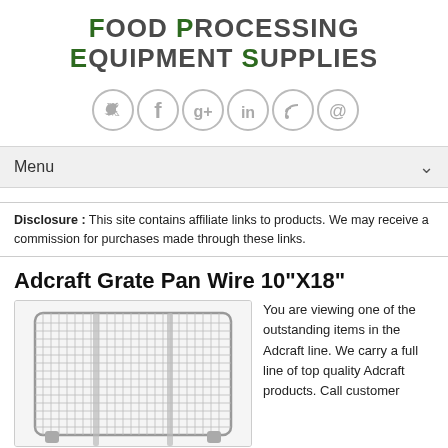Food Processing Equipment Supplies
[Figure (infographic): Social media icons: Twitter, Facebook, Google+, LinkedIn, RSS, Email — circular gray outlined icons]
Menu
Disclosure : This site contains affiliate links to products. We may receive a commission for purchases made through these links.
Adcraft Grate Pan Wire 10"X18"
[Figure (photo): Photo of an Adcraft wire grate pan, rectangular metal wire rack with grid pattern]
You are viewing one of the outstanding items in the Adcraft line. We carry a full line of top quality Adcraft products. Call customer